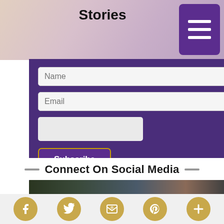[Figure (screenshot): Top portion of a webpage showing 'Stories' title text over a soft pink/purple blurred background image with a purple hamburger menu button in top right corner]
[Figure (screenshot): Purple subscription form section with Name input, Email input, a blank input field, and a Subscribe button with gold border]
Connect On Social Media
[Figure (photo): A horizontal strip of dark-tinted social media photos showing various images]
[Figure (infographic): Row of five gold circular social media icons: Facebook, Twitter, email/newsletter, Pinterest, and a plus/more button]